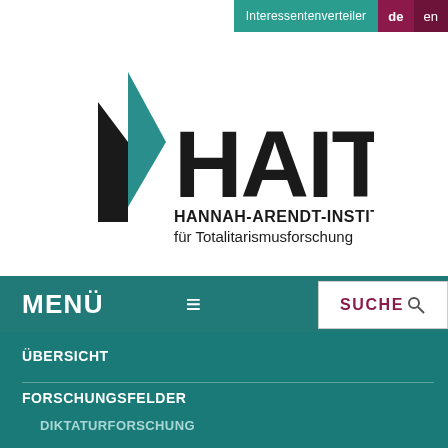Interessentenverteiler  de  en
[Figure (logo): HAIT Hannah-Arendt-Institut für Totalitarismusforschung logo with teal and black triangular graphic mark and bold HAIT text]
MENÜ
SUCHE
ÜBERSICHT
FORSCHUNGSFELDER
DIKTATURFORSCHUNG